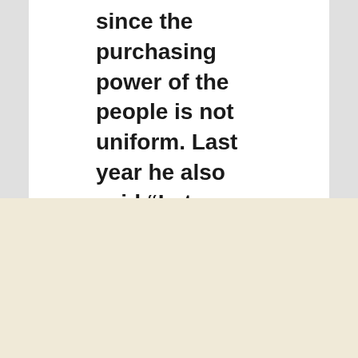since the purchasing power of the people is not uniform. Last year he also said “Let me make it clear, though, a single rate GST is not possible in India. We cannot have a tax system which has the same rate for a Hawai chappal and Mercedes car”.